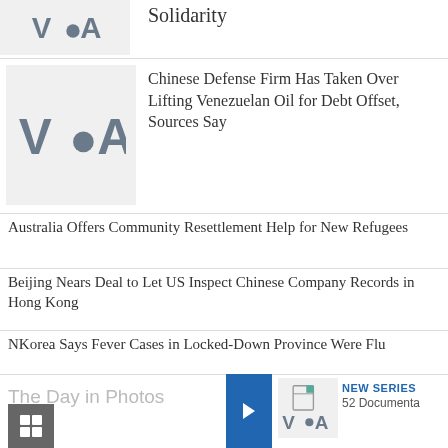[Figure (logo): VOA logo on light gray background, partial article thumbnail at top]
Solidarity
[Figure (logo): VOA logo on light gray background]
Chinese Defense Firm Has Taken Over Lifting Venezuelan Oil for Debt Offset, Sources Say
Australia Offers Community Resettlement Help for New Refugees
Beijing Nears Deal to Let US Inspect Chinese Company Records in Hong Kong
NKorea Says Fever Cases in Locked-Down Province Were Flu
The Day in Photos
[Figure (logo): Blue arrow button]
[Figure (logo): VOA logo small with document icon]
NEW SERIES
52 Documenta